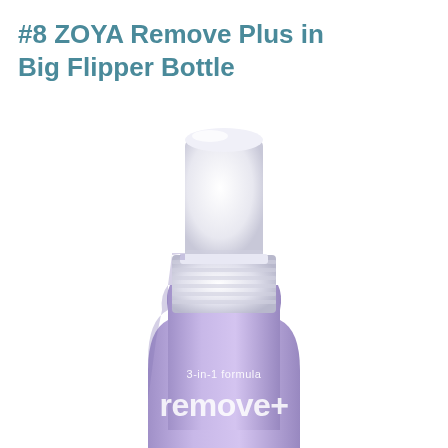#8 ZOYA Remove Plus in Big Flipper Bottle
[Figure (photo): Close-up photo of a ZOYA Remove Plus nail polish remover bottle in a big flipper bottle format. The bottle is lavender/purple colored with a white flip-top pump cap. The label reads '3-in-1 formula remove+'. Only the top portion of the bottle and cap are visible, cropped at the bottom of the image.]